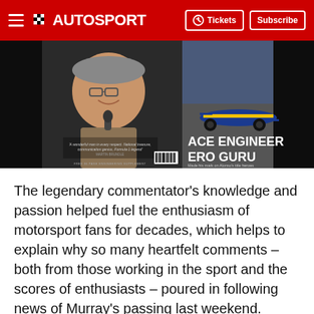AUTOSPORT — Tickets | Subscribe
[Figure (photo): Magazine cover and spread showing a smiling elderly man at a microphone on the left panel, and a Formula 1 race car (Renault, blue and yellow) on the right panel. Text on right reads 'ACE ENGINEER ERO GURU'. Dark curtain background.]
The legendary commentator's knowledge and passion helped fuel the enthusiasm of motorsport fans for decades, which helps to explain why so many heartfelt comments – both from those working in the sport and the scores of enthusiasts – poured in following news of Murray's passing last weekend.
[Figure (other): Advertisement placeholder (light grey rectangle)]